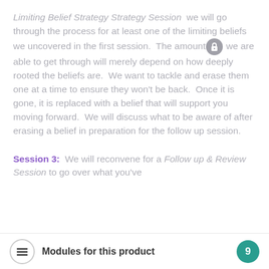Limiting Belief Strategy Strategy Session  we will go through the process for at least one of the limiting beliefs we uncovered in the first session.  The amount [lock icon] we are able to get through will merely depend on how deeply rooted the beliefs are.  We want to tackle and erase them one at a time to ensure they won't be back.  Once it is gone, it is replaced with a belief that will support you moving forward.  We will discuss what to be aware of after erasing a belief in preparation for the follow up session.
Session 3:  We will reconvene for a Follow up & Review Session to go over what you've
Modules for this product  9